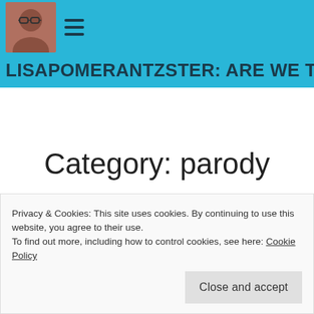[Figure (screenshot): Navigation bar with avatar photo and hamburger menu icon on a cyan/teal background]
LISAPOMERANTZSTER: ARE WE THERE YET
Category: parody
[Figure (other): Cyan circular floating action button with text-align icon lines]
Privacy & Cookies: This site uses cookies. By continuing to use this website, you agree to their use.
To find out more, including how to control cookies, see here: Cookie Policy
Close and accept